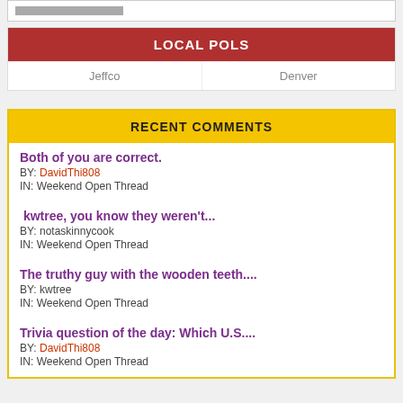LOCAL POLS
Jeffco   Denver
RECENT COMMENTS
Both of you are correct.
BY: DavidThi808
IN: Weekend Open Thread
kwtree, you know they weren't...
BY: notaskinnycook
IN: Weekend Open Thread
The truthy guy with the wooden teeth....
BY: kwtree
IN: Weekend Open Thread
Trivia question of the day: Which U.S....
BY: DavidThi808
IN: Weekend Open Thread